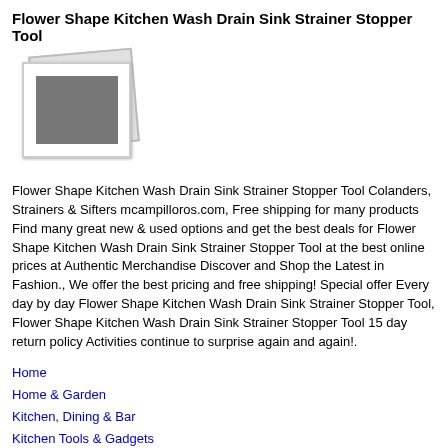Flower Shape Kitchen Wash Drain Sink Strainer Stopper Tool
[Figure (photo): Placeholder image showing a photo icon with a dark grey rectangle representing an image]
Flower Shape Kitchen Wash Drain Sink Strainer Stopper Tool Colanders, Strainers & Sifters mcampilloros.com, Free shipping for many products Find many great new & used options and get the best deals for Flower Shape Kitchen Wash Drain Sink Strainer Stopper Tool at the best online prices at Authentic Merchandise Discover and Shop the Latest in Fashion., We offer the best pricing and free shipping! Special offer Every day by day Flower Shape Kitchen Wash Drain Sink Strainer Stopper Tool, Flower Shape Kitchen Wash Drain Sink Strainer Stopper Tool 15 day return policy Activities continue to surprise again and again!.
Home
Home & Garden
Kitchen, Dining & Bar
Kitchen Tools & Gadgets
Colanders, Strainers & Sifters
Flower Shape Kitchen Wash Drain Sink Strainer Stopper Tool